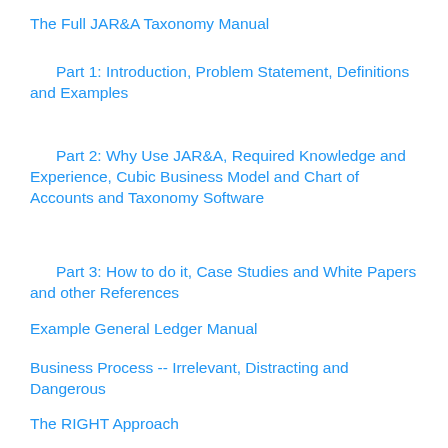The Full JAR&A Taxonomy Manual
Part 1: Introduction, Problem Statement, Definitions and Examples
Part 2: Why Use JAR&A, Required Knowledge and Experience, Cubic Business Model and Chart of Accounts and Taxonomy Software
Part 3: How to do it, Case Studies and White Papers and other References
Example General Ledger Manual
Business Process -- Irrelevant, Distracting and Dangerous
The RIGHT Approach